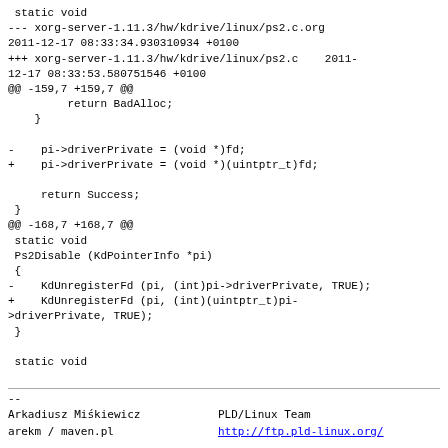static void
--- xorg-server-1.11.3/hw/kdrive/linux/ps2.c.org
2011-12-17 08:33:34.930310934 +0100
+++ xorg-server-1.11.3/hw/kdrive/linux/ps2.c    2011-
12-17 08:33:53.580751546 +0100
@@ -159,7 +159,7 @@
        return BadAlloc;
    }

-    pi->driverPrivate = (void *)fd;
+    pi->driverPrivate = (void *)(uintptr_t)fd;

    return Success;
 }
@@ -168,7 +168,7 @@
 static void
 Ps2Disable (KdPointerInfo *pi)
 {
-    KdUnregisterFd (pi, (int)pi->driverPrivate, TRUE);
+    KdUnregisterFd (pi, (int)(uintptr_t)pi-
>driverPrivate, TRUE);
 }

 static void
--
Arkadiusz Miśkiewicz    PLD/Linux Team
arekm / maven.pl        http://ftp.pld-linux.org/